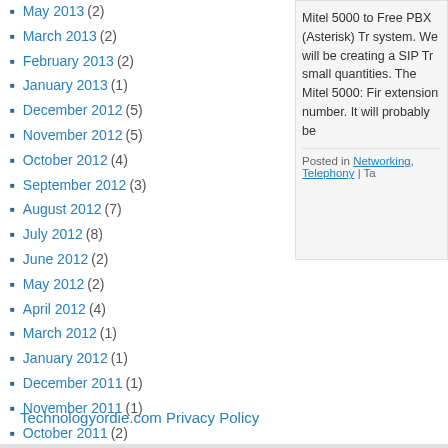May 2013 (2)
March 2013 (2)
February 2013 (2)
January 2013 (1)
December 2012 (5)
November 2012 (5)
October 2012 (4)
September 2012 (3)
August 2012 (7)
July 2012 (8)
June 2012 (2)
May 2012 (2)
April 2012 (4)
March 2012 (1)
January 2012 (1)
December 2011 (1)
November 2011 (1)
October 2011 (2)
September 2011 (1)
August 2011 (3)
July 2011 (4)
Mitel 5000 to Free PBX (Asterisk) Tr... system. We will be creating a SIP Tr... small quantities. The Mitel 5000: Fir... extension number. It will probably be...
Posted in Networking, Telephony | Ta...
Technologyordie.com Privacy Policy